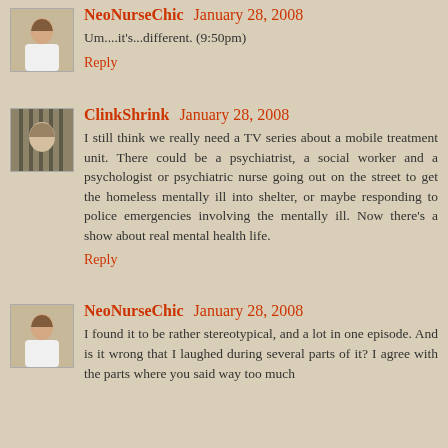[Figure (photo): Small avatar photo of NeoNurseChic - woman in white top]
NeoNurseChic January 28, 2008
Um....it's...different. (9:50pm)
Reply
[Figure (photo): Small avatar photo of ClinkShrink - figure behind bars]
ClinkShrink January 28, 2008
I still think we really need a TV series about a mobile treatment unit. There could be a psychiatrist, a social worker and a psychologist or psychiatric nurse going out on the street to get the homeless mentally ill into shelter, or maybe responding to police emergencies involving the mentally ill. Now there's a show about real mental health life.
Reply
[Figure (photo): Small avatar photo of NeoNurseChic - woman in white top]
NeoNurseChic January 28, 2008
I found it to be rather stereotypical, and a lot in one episode. And is it wrong that I laughed during several parts of it? I agree with the parts where you said way too much